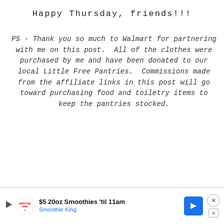Happy Thursday, friends!!!
PS - Thank you so much to Walmart for partnering with me on this post.  All of the clothes were purchased by me and have been donated to our local Little Free Pantries.  Commissions made from the affiliate links in this post will go toward purchasing food and toiletry items to keep the pantries stocked.
[Figure (other): Advertisement banner for Smoothie King: '$5 20oz Smoothies 'til 11am' with play button, Smoothie King logo, blue arrow button, and close button]